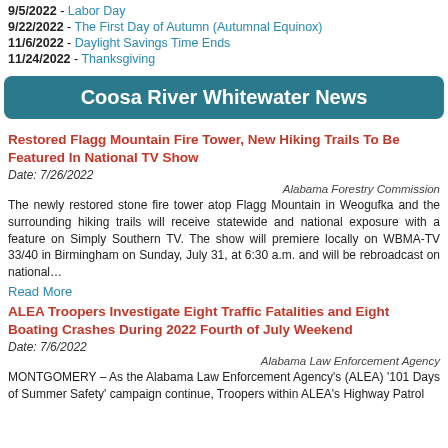9/5/2022 - Labor Day
9/22/2022 - The First Day of Autumn (Autumnal Equinox)
11/6/2022 - Daylight Savings Time Ends
11/24/2022 - Thanksgiving
Coosa River Whitewater News
Restored Flagg Mountain Fire Tower, New Hiking Trails To Be Featured In National TV Show
Date: 7/26/2022
Alabama Forestry Commission
The newly restored stone fire tower atop Flagg Mountain in Weogufka and the surrounding hiking trails will receive statewide and national exposure with a feature on Simply Southern TV. The show will premiere locally on WBMA-TV 33/40 in Birmingham on Sunday, July 31, at 6:30 a.m. and will be rebroadcast on national…
Read More
ALEA Troopers Investigate Eight Traffic Fatalities and Eight Boating Crashes During 2022 Fourth of July Weekend
Date: 7/6/2022
Alabama Law Enforcement Agency
MONTGOMERY – As the Alabama Law Enforcement Agency's (ALEA) '101 Days of Summer Safety' campaign continue, Troopers within ALEA's Highway Patrol